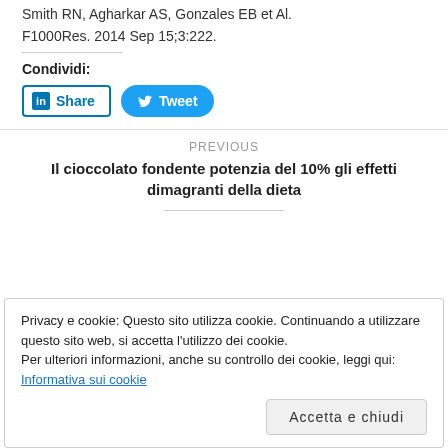Smith RN, Agharkar AS, Gonzales EB et Al.
F1000Res. 2014 Sep 15;3:222.
Condividi:
[Figure (other): LinkedIn Share button and Twitter Tweet button]
PREVIOUS
Il cioccolato fondente potenzia del 10% gli effetti dimagranti della dieta
Privacy e cookie: Questo sito utilizza cookie. Continuando a utilizzare questo sito web, si accetta l'utilizzo dei cookie. Per ulteriori informazioni, anche su controllo dei cookie, leggi qui: Informativa sui cookie